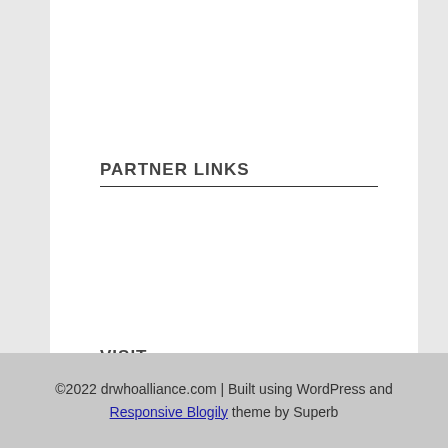PARTNER LINKS
VISIT
Computer Science
©2022 drwhoalliance.com | Built using WordPress and Responsive Blogily theme by Superb